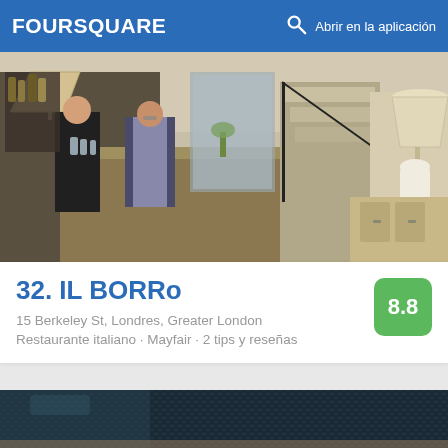FOURSQUARE  Abrir en la aplicación
[Figure (photo): Interior of IL BORRo restaurant showing bar area with staff, pendant lamps, wooden counter, glassware and staircase in background]
32. IL BORRo
15 Berkeley St, Londres, Greater London
Restaurante italiano · Mayfair · 2 tips y reseñas
[Figure (photo): Close-up of dark navy blue/teal textured fabric or leather material with diamond/weave pattern]